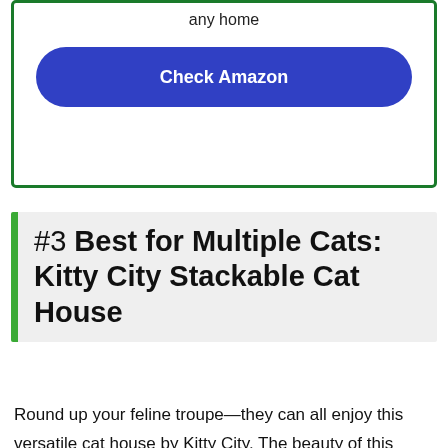any home
Check Amazon
#3 Best for Multiple Cats: Kitty City Stackable Cat House
Round up your feline troupe—they can all enjoy this versatile cat house by Kitty City. The beauty of this indoor cat house is that it's entirely customizable. To get the design you're after, just stack additional cubes and/or beds (sold